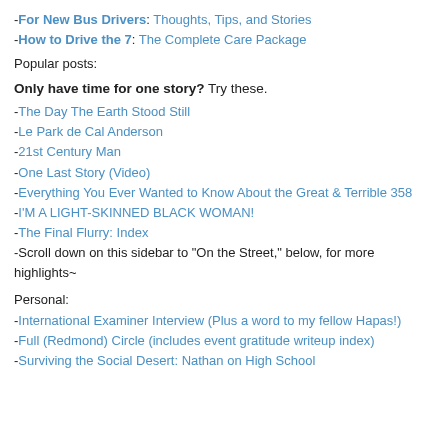-For New Bus Drivers: Thoughts, Tips, and Stories
-How to Drive the 7: The Complete Care Package
Popular posts:
Only have time for one story? Try these.
-The Day The Earth Stood Still
-Le Park de Cal Anderson
-21st Century Man
-One Last Story (Video)
-Everything You Ever Wanted to Know About the Great & Terrible 358
-I'M A LIGHT-SKINNED BLACK WOMAN!
-The Final Flurry: Index
-Scroll down on this sidebar to "On the Street," below, for more highlights~
Personal:
-International Examiner Interview (Plus a word to my fellow Hapas!)
-Full (Redmond) Circle (includes event gratitude writeup index)
-Surviving the Social Desert: Nathan on High School